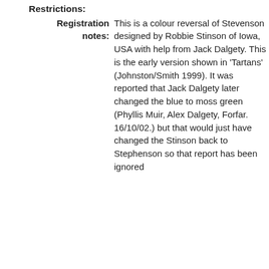Restrictions:
Registration notes: This is a colour reversal of Stevenson designed by Robbie Stinson of Iowa, USA with help from Jack Dalgety. This is the early version shown in 'Tartans' (Johnston/Smith 1999). It was reported that Jack Dalgety later changed the blue to moss green (Phyllis Muir, Alex Dalgety, Forfar. 16/10/02.) but that would just have changed the Stinson back to Stephenson so that report has been ignored for the moment.